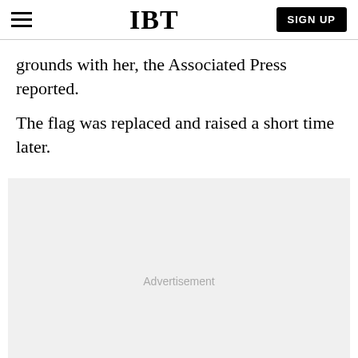IBT
grounds with her, the Associated Press reported.
The flag was replaced and raised a short time later.
[Figure (other): Advertisement placeholder area with light gray background and 'Advertisement' label centered.]